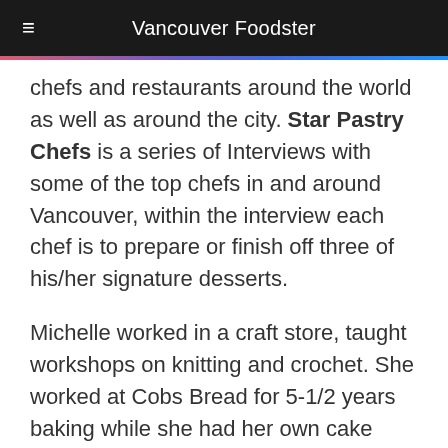Vancouver Foodster
chefs and restaurants around the world as well as around the city. Star Pastry Chefs is a series of Interviews with some of the top chefs in and around Vancouver, within the interview each chef is to prepare or finish off three of his/her signature desserts.
Michelle worked in a craft store, taught workshops on knitting and crochet. She worked at Cobs Bread for 5-1/2 years baking while she had her own cake business on the side. She then worked as the